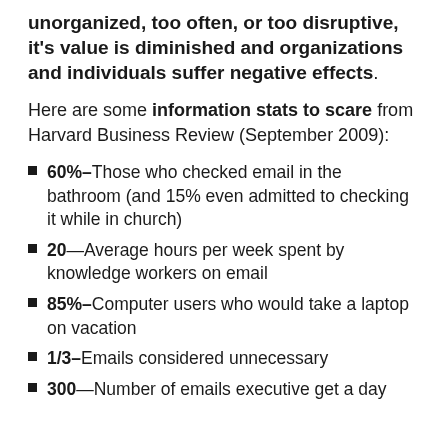unorganized, too often, or too disruptive, it's value is diminished and organizations and individuals suffer negative effects.
Here are some information stats to scare from Harvard Business Review (September 2009):
60%–Those who checked email in the bathroom (and 15% even admitted to checking it while in church)
20—Average hours per week spent by knowledge workers on email
85%–Computer users who would take a laptop on vacation
1/3–Emails considered unnecessary
300—Number of emails executive get a day